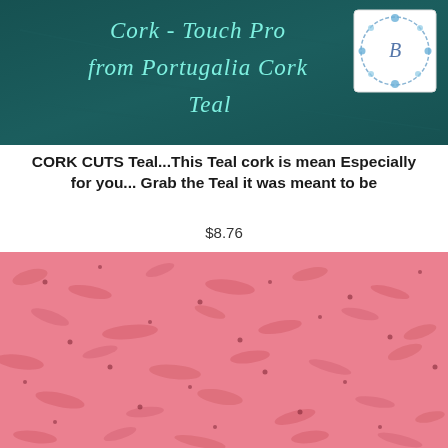[Figure (photo): Teal cork fabric texture with italic white/cyan text reading 'Cork - Touch Pro from Portugalia Cork Teal' and a small logo in the top right corner featuring a floral wreath with the letter B]
CORK CUTS Teal...This Teal cork is mean Especially for you... Grab the Teal it was meant to be
$8.76
[Figure (photo): Pink/coral colored cork fabric texture showing natural cork grain pattern with dark speckles]